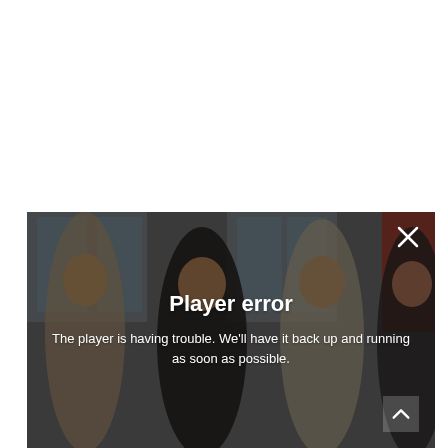[Figure (screenshot): Video player error screen showing four women at an event with a dark overlay. White text reads 'Player error' and 'The player is having trouble. We'll have it back up and running as soon as possible.' A close button (X) is in the top right corner and a chevron (^) is in the bottom right.]